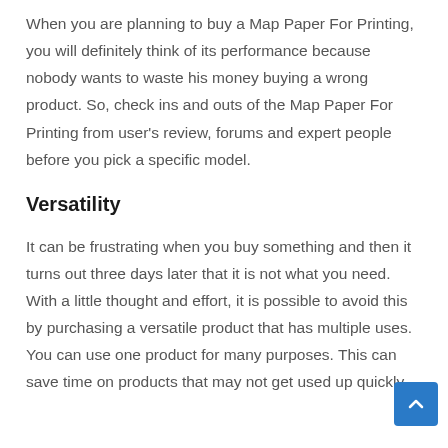When you are planning to buy a Map Paper For Printing, you will definitely think of its performance because nobody wants to waste his money buying a wrong product. So, check ins and outs of the Map Paper For Printing from user's review, forums and expert people before you pick a specific model.
Versatility
It can be frustrating when you buy something and then it turns out three days later that it is not what you need. With a little thought and effort, it is possible to avoid this by purchasing a versatile product that has multiple uses. You can use one product for many purposes. This can save time on products that may not get used up quickly.